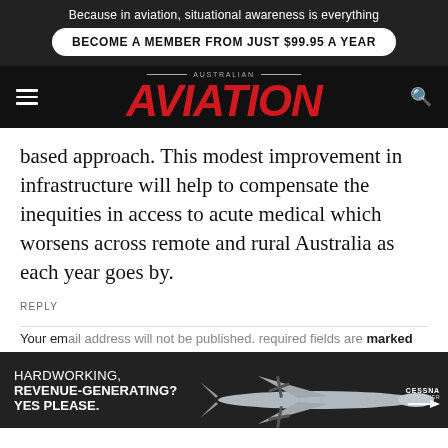Because in aviation, situational awareness is everything
BECOME A MEMBER FROM JUST $99.95 A YEAR
[Figure (logo): Australian Aviation logo with hamburger menu and search icon on dark navigation bar]
based approach. This modest improvement in infrastructure will help to compensate the inequities in access to acute medical which worsens across remote and rural Australia as each year goes by.
REPLY
LEAVE A COMMENT TO ANDREW BERRY
CANCEL
[Figure (illustration): Advertisement banner: HARDWORKING, REVENUE-GENERATING? YES PLEASE. with Cessna SkyCourier aircraft image and Cessna SkyCourier logo]
Your email address will not be published. required fields are marked *